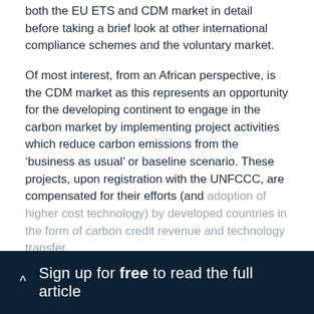both the EU ETS and CDM market in detail before taking a brief look at other international compliance schemes and the voluntary market.
Of most interest, from an African perspective, is the CDM market as this represents an opportunity for the developing continent to engage in the carbon market by implementing project activities which reduce carbon emissions from the ‘business as usual’ or baseline scenario. These projects, upon registration with the UNFCCC, are compensated for their efforts (and adoption of higher cost technology) by developed countries in the form of carbon credit revenue and technology transfer.
Sign up for free to read the full article